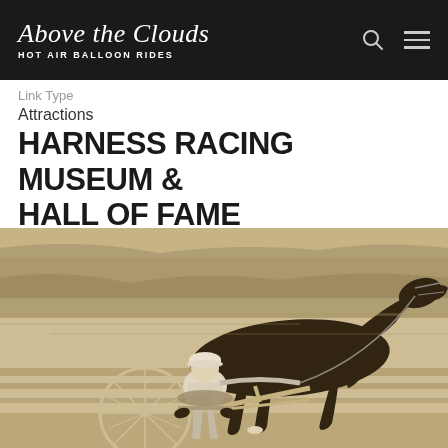Above the Clouds HOT AIR BALLOON RIDES
Link Type
Attractions
HARNESS RACING MUSEUM & HALL OF FAME
[Figure (photo): Sepia-toned vintage photograph of a harness racing horse pulling a sulky with a jockey dressed in white, racing at speed on a track]